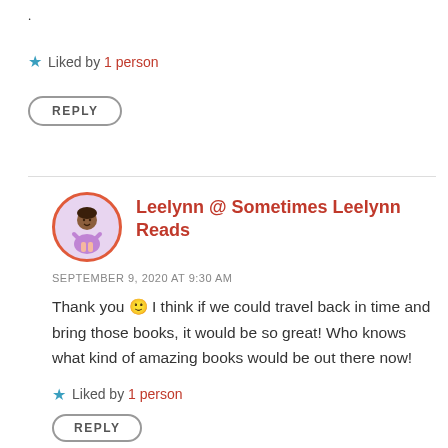.
★ Liked by 1 person
REPLY
Leelynn @ Sometimes Leelynn Reads
SEPTEMBER 9, 2020 AT 9:30 AM
Thank you 🙂 I think if we could travel back in time and bring those books, it would be so great! Who knows what kind of amazing books would be out there now!
★ Liked by 1 person
REPLY